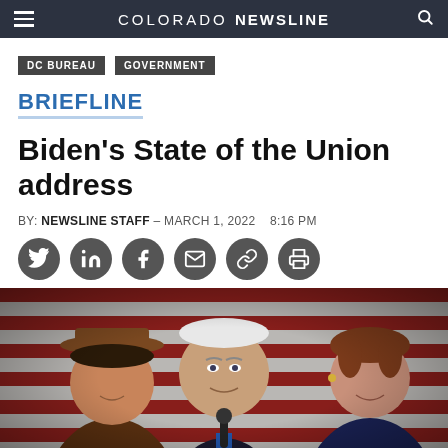COLORADO NEWSLINE
DC BUREAU   GOVERNMENT
BRIEFLINE
Biden’s State of the Union address
BY: NEWSLINE STAFF – MARCH 1, 2022   8:16 PM
[Figure (photo): Photo of President Biden speaking at a podium with Kamala Harris and Nancy Pelosi behind him, American flags in background]
[Figure (infographic): Social share icons row: Twitter, LinkedIn, Facebook, Email, Link, Print]